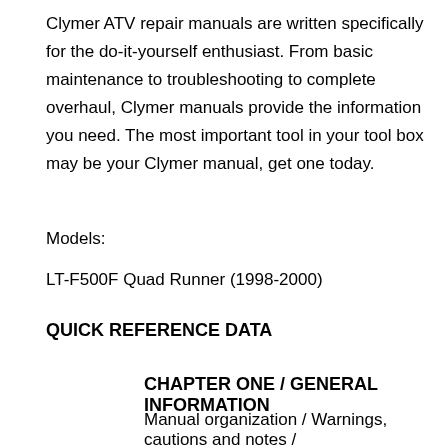Clymer ATV repair manuals are written specifically for the do-it-yourself enthusiast. From basic maintenance to troubleshooting to complete overhaul, Clymer manuals provide the information you need. The most important tool in your tool box may be your Clymer manual, get one today.
Models:
LT-F500F Quad Runner (1998-2000)
QUICK REFERENCE DATA
CHAPTER ONE / GENERAL INFORMATION
Manual organization / Warnings, cautions and notes /
[Figure (other): Shopping cart icon with badge showing 0, dark grey background box.]